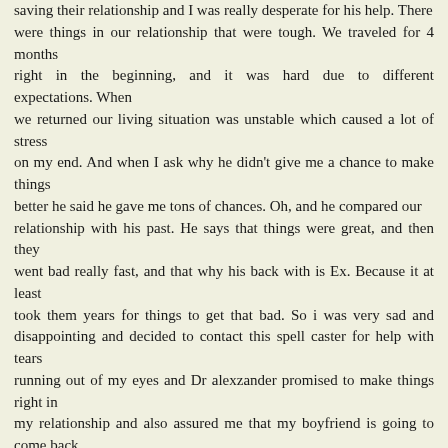saving their relationship and I was really desperate for his help. There were things in our relationship that were tough. We traveled for 4 months right in the beginning, and it was hard due to different expectations. When we returned our living situation was unstable which caused a lot of stress on my end. And when I ask why he didn't give me a chance to make things better he said he gave me tons of chances. Oh, and he compared our relationship with his past. He says that things were great, and then they went bad really fast, and that why his back with is Ex. Because it at least took them years for things to get that bad. So i was very sad and disappointing and decided to contact this spell caster for help with tears running out of my eyes and Dr alexzander promised to make things right in my relationship and also assured me that my boyfriend is going to come back